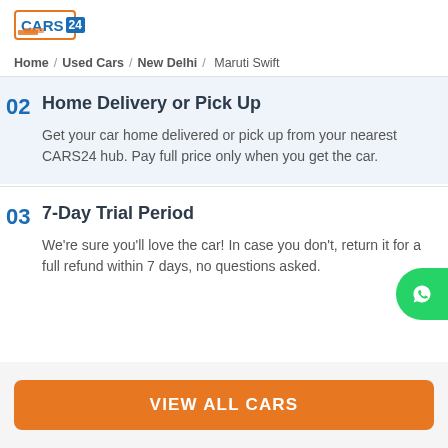[Figure (logo): CARS24 logo with orange border and blue text]
Home / Used Cars / New Delhi / Maruti Swift
02 Home Delivery or Pick Up
Get your car home delivered or pick up from your nearest CARS24 hub. Pay full price only when you get the car.
03 7-Day Trial Period
We're sure you'll love the car! In case you don't, return it for a full refund within 7 days, no questions asked.
VIEW ALL CARS